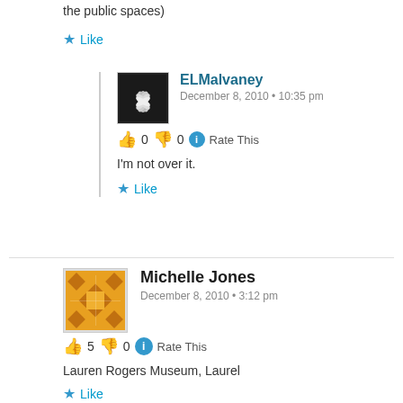the public spaces)
Like
ELMalvaney
December 8, 2010 • 10:35 pm
👍 0 👎 0 ℹ Rate This
I'm not over it.
Like
Michelle Jones
December 8, 2010 • 3:12 pm
👍 5 👎 0 ℹ Rate This
Lauren Rogers Museum, Laurel
Like